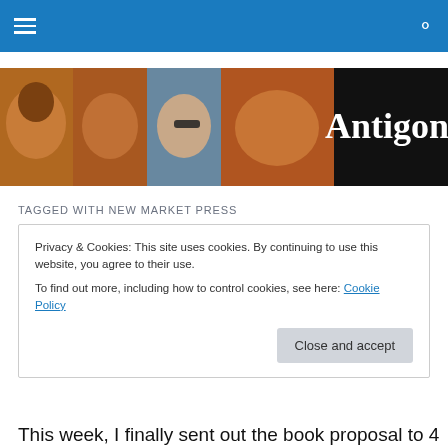Navigation bar with hamburger menu and search icon
[Figure (photo): Banner image showing five women of diverse backgrounds side by side, with a black panel on the right displaying the word 'Antigone' in white serif font]
TAGGED WITH NEW MARKET PRESS
Privacy & Cookies: This site uses cookies. By continuing to use this website, you agree to their use.
To find out more, including how to control cookies, see here: Cookie Policy
[Close and accept]
This week, I finally sent out the book proposal to 4